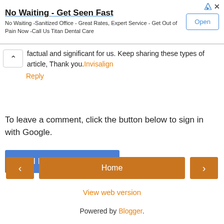[Figure (screenshot): Advertisement banner: 'No Waiting - Get Seen Fast' with Open button and ad icons]
factual and significant for us. Keep sharing these types of article, Thank you.Invisalign
Reply
To leave a comment, click the button below to sign in with Google.
[Figure (screenshot): Blue 'SIGN IN WITH GOOGLE' button]
[Figure (screenshot): Navigation bar with left arrow, Home button, and right arrow]
View web version
Powered by Blogger.